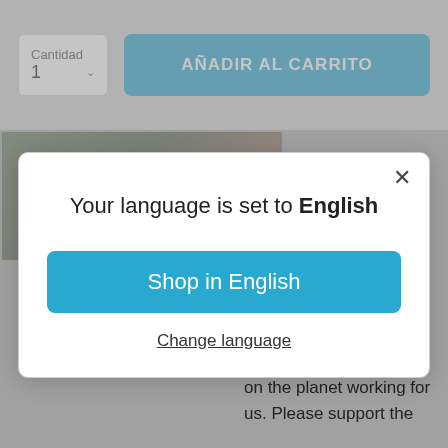[Figure (screenshot): E-commerce page background showing a 'Cantidad 1' quantity dropdown and a blue 'AÑADIR AL CARRITO' button, with a partially visible product photo and Spanish text beneath the modal.]
Your language is set to English
Shop in English
Change language
hardware, and accessories. We have some of the best people on the planet working for us. Please support the